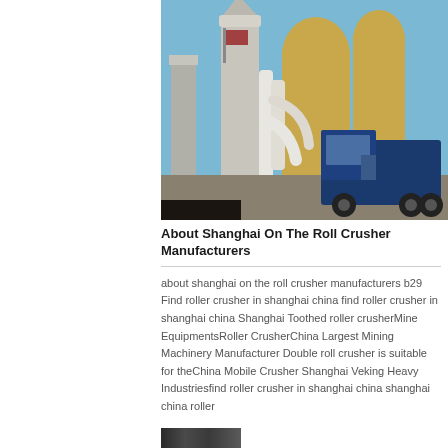[Figure (photo): Industrial mining/crushing plant with large cylindrical silos, white pipe systems, and a blue truck parked beside the machinery under a clear blue sky.]
About Shanghai On The Roll Crusher Manufacturers
about shanghai on the roll crusher manufacturers b29 Find roller crusher in shanghai china find roller crusher in shanghai china Shanghai Toothed roller crusherMine EquipmentsRoller CrusherChina Largest Mining Machinery Manufacturer Double roll crusher is suitable for theChina Mobile Crusher Shanghai Veking Heavy Industriesfind roller crusher in shanghai china shanghai china roller
[Figure (photo): Partial view of an outdoor industrial or mining scene, bottom of page.]